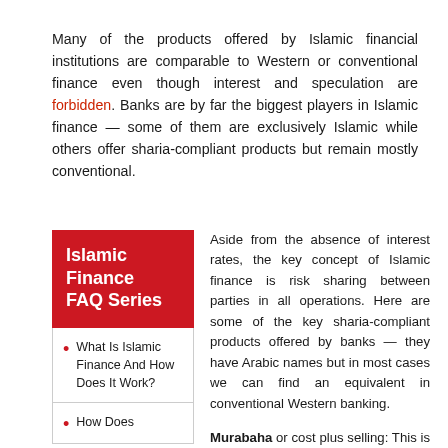Many of the products offered by Islamic financial institutions are comparable to Western or conventional finance even though interest and speculation are forbidden. Banks are by far the biggest players in Islamic finance — some of them are exclusively Islamic while others offer sharia-compliant products but remain mostly conventional.
Islamic Finance FAQ Series
What Is Islamic Finance And How Does It Work?
How Does
Aside from the absence of interest rates, the key concept of Islamic finance is risk sharing between parties in all operations. Here are some of the key sharia-compliant products offered by banks — they have Arabic names but in most cases we can find an equivalent in conventional Western banking.
Murabaha or cost plus selling: This is the most common product in asset portfolios and applies only to